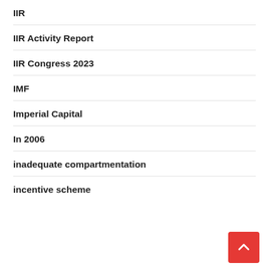IIR
IIR Activity Report
IIR Congress 2023
IMF
Imperial Capital
In 2006
inadequate compartmentation
incentive scheme